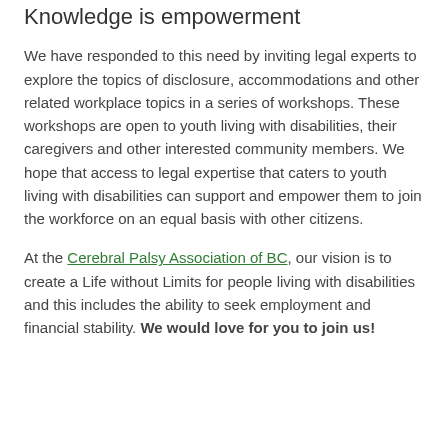Knowledge is empowerment
We have responded to this need by inviting legal experts to explore the topics of disclosure, accommodations and other related workplace topics in a series of workshops. These workshops are open to youth living with disabilities, their caregivers and other interested community members. We hope that access to legal expertise that caters to youth living with disabilities can support and empower them to join the workforce on an equal basis with other citizens.
At the Cerebral Palsy Association of BC, our vision is to create a Life without Limits for people living with disabilities and this includes the ability to seek employment and financial stability. We would love for you to join us!